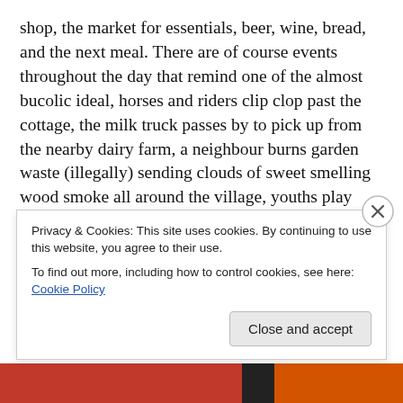shop, the market for essentials, beer, wine, bread, and the next meal. There are of course events throughout the day that remind one of the almost bucolic ideal, horses and riders clip clop past the cottage, the milk truck passes by to pick up from the nearby dairy farm, a neighbour burns garden waste (illegally) sending clouds of sweet smelling wood smoke all around the village, youths play soccer on the green, ladies wait for the weekly bus, chatting quietly, a local gent' comes and mows the lawn, oh that smell, and of course it rains and drizzles with the famous sunny intervals. It is incredibly, unbelievably greeeeen, so
Privacy & Cookies: This site uses cookies. By continuing to use this website, you agree to their use.
To find out more, including how to control cookies, see here: Cookie Policy
Close and accept